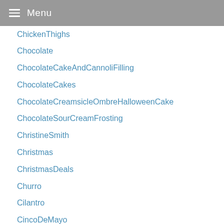Menu
ChickenThighs
Chocolate
ChocolateCakeAndCannoliFilling
ChocolateCakes
ChocolateCreamsicleOmbreHalloweenCake
ChocolateSourCreamFrosting
ChristineSmith
Christmas
ChristmasDeals
Churro
Cilantro
CincoDeMayo
CincoDeMayoRecipes
Cinnamon
CinnamonBread
CinnamonBreadRecipe
CinnamonRolls